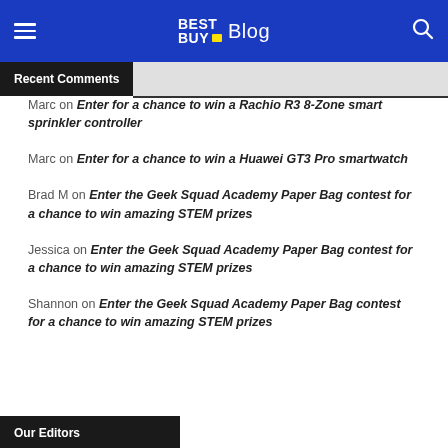BEST BUY Blog
Recent Comments
Marc on Enter for a chance to win a Rachio R3 8-Zone smart sprinkler controller
Marc on Enter for a chance to win a Huawei GT3 Pro smartwatch
Brad M on Enter the Geek Squad Academy Paper Bag contest for a chance to win amazing STEM prizes
Jessica on Enter the Geek Squad Academy Paper Bag contest for a chance to win amazing STEM prizes
Shannon on Enter the Geek Squad Academy Paper Bag contest for a chance to win amazing STEM prizes
Our Editors